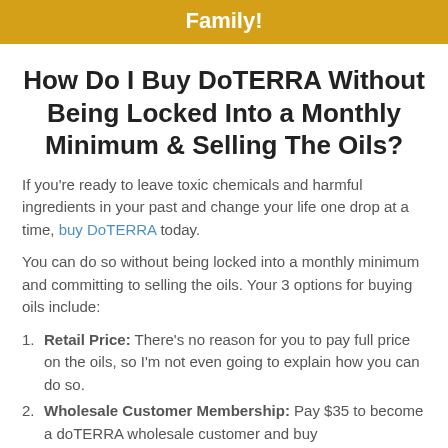Family!
How Do I Buy DoTERRA Without Being Locked Into a Monthly Minimum & Selling The Oils?
If you're ready to leave toxic chemicals and harmful ingredients in your past and change your life one drop at a time, buy DoTERRA today.
You can do so without being locked into a monthly minimum and committing to selling the oils. Your 3 options for buying oils include:
Retail Price: There's no reason for you to pay full price on the oils, so I'm not even going to explain how you can do so.
Wholesale Customer Membership: Pay $35 to become a doTERRA wholesale customer and buy